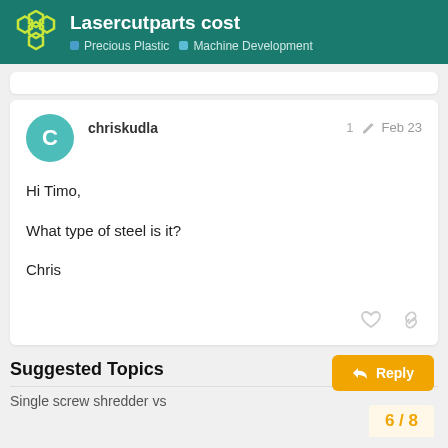Lasercutparts cost — Precious Plastic · Machine Development
Hi Timo,

What type of steel is it?

Chris
Suggested Topics
Single screw shredder vs